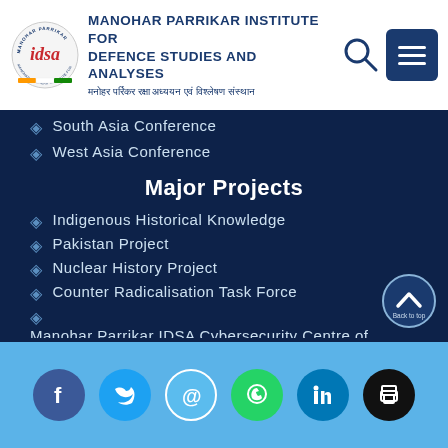MANOHAR PARRIKAR INSTITUTE FOR DEFENCE STUDIES AND ANALYSES | मनोहर पर्रिकर रक्षा अध्ययन एवं विश्लेषण संस्थान
South Asia Conference
West Asia Conference
Major Projects
Indigenous Historical Knowledge
Pakistan Project
Nuclear History Project
Counter Radicalisation Task Force
Manohar Parrikar IDSA Cybersecurity Centre of Excellence
Indian Pugwash Society
Social media links: Facebook, Twitter, Email, WhatsApp, LinkedIn, Print